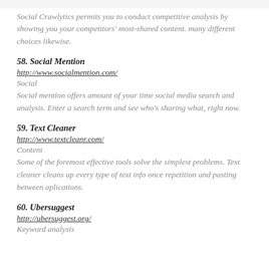Social Crawlytics permits you to conduct competitive analysis by showing you your competitors' most-shared content. many different choices likewise.
58. Social Mention
http://www.socialmention.com/
Social
Social mention offers amount of your time social media search and analysis. Enter a search term and see who's sharing what, right now.
59. Text Cleaner
http://www.textcleanr.com/
Content
Some of the foremost effective tools solve the simplest problems. Text cleaner cleans up every type of text info once repetition and pasting between aplications.
60. Ubersuggest
http://ubersuggest.org/
Keyword analysis